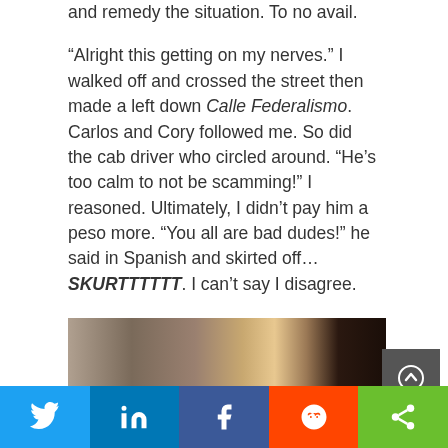and remedy the situation. To no avail.
“Alright this getting on my nerves.” I walked off and crossed the street then made a left down Calle Federalismo. Carlos and Cory followed me. So did the cab driver who circled around. “He’s too calm to not be scamming!” I reasoned. Ultimately, I didn’t pay him a peso more. “You all are bad dudes!” he said in Spanish and skirted off…SKURTTTTTT. I can’t say I disagree.
Encore
[Figure (photo): Partial photo of a street or historic building scene, showing stone/brick facades, partially cut off at bottom of page]
Social share bar: Twitter, LinkedIn, Facebook, Reddit, Share